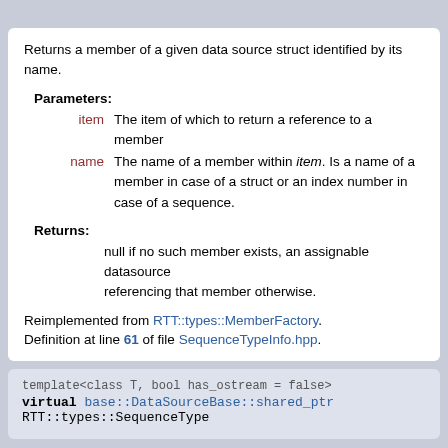Returns a member of a given data source struct identified by its name.
Parameters:
item   The item of which to return a reference to a member
name   The name of a member within item. Is a name of a member in case of a struct or an index number in case of a sequence.
Returns:
null if no such member exists, an assignable datasource referencing that member otherwise.
Reimplemented from RTT::types::MemberFactory.
Definition at line 61 of file SequenceTypeInfo.hpp.
template<class T, bool has_ostream = false>
virtual base::DataSourceBase::shared_ptr RTT::types::SequenceType